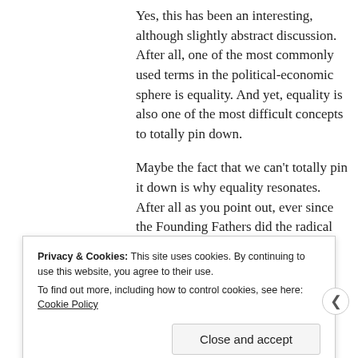Yes, this has been an interesting, although slightly abstract discussion. After all, one of the most commonly used terms in the political-economic sphere is equality. And yet, equality is also one of the most difficult concepts to totally pin down.
Maybe the fact that we can't totally pin it down is why equality resonates. After all as you point out, ever since the Founding Fathers did the radical thing by talking of how our creator
Privacy & Cookies: This site uses cookies. By continuing to use this website, you agree to their use. To find out more, including how to control cookies, see here: Cookie Policy